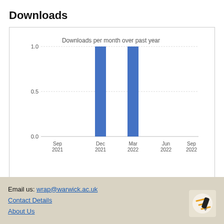Downloads
[Figure (bar-chart): Downloads per month over past year]
View more statistics
Email us: wrap@warwick.ac.uk
Contact Details
About Us